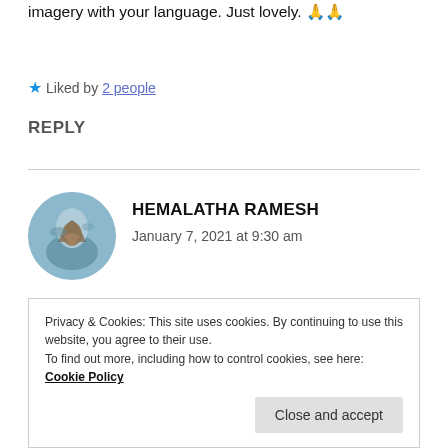Beautiful, Premalatha. You create some wonderful imagery with your language. Just lovely. 🙏🙏
★ Liked by 2 people
REPLY
[Figure (photo): Circular avatar photo of Hemalatha Ramesh showing a bird against a blue sky background]
HEMALATHA RAMESH
January 7, 2021 at 9:30 am
Thank you so much, Sir! 🤗 ❤
Privacy & Cookies: This site uses cookies. By continuing to use this website, you agree to their use.
To find out more, including how to control cookies, see here: Cookie Policy
Close and accept